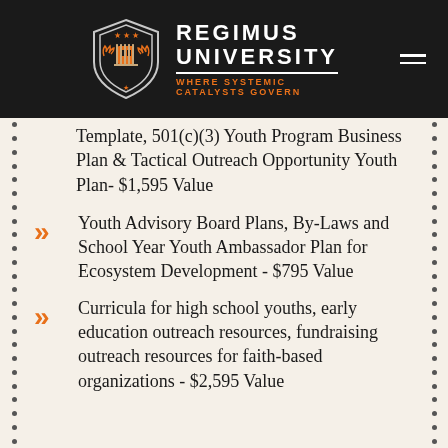REGIMUS UNIVERSITY — WHERE SYSTEMIC CATALYSTS GOVERN
Template, 501(c)(3) Youth Program Business Plan & Tactical Outreach Opportunity Youth Plan- $1,595 Value
Youth Advisory Board Plans, By-Laws and School Year Youth Ambassador Plan for Ecosystem Development - $795 Value
Curricula for high school youths, early education outreach resources, fundraising outreach resources for faith-based organizations - $2,595 Value